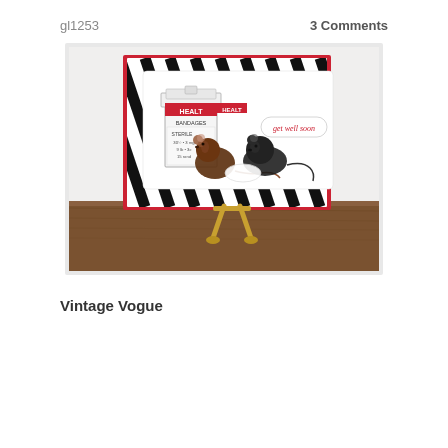gl1253
3 Comments
[Figure (photo): A handmade greeting card displayed on a card stand. The card has a red background with black and white diagonal stripes. On top is a white panel with two cartoon mice next to a bandage tin labeled 'HEALT BANDAGES STERILE'. A pill-shaped tag reads 'get well soon' in red text.]
Vintage Vogue